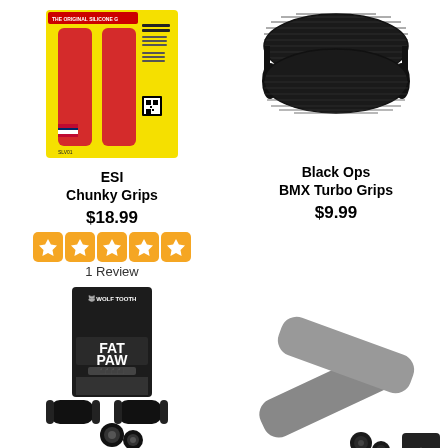[Figure (photo): ESI Chunky Grips product photo — two red silicone handlebar grips on a yellow packaging card with American flag and text 'The Original Silicone Grips', 'Chosen by World Champions and Olympians', 'Increases Bar Control', 'Under Absorbing']
ESI
Chunky Grips
$18.99
1 Review
[Figure (photo): Black Ops BMX Turbo Grips product photo — black rubber grips with ribbed/knurled texture, shown as a cylindrical roll of grip tape]
Black Ops
BMX Turbo Grips
$9.99
[Figure (photo): Wolf Tooth FAT PAW grips product photo — black handlebar grips shown in packaging (dark box with FAT PAW branding) with two black cylindrical grips and bar end plugs]
[Figure (photo): Gray silicone handlebar grips product photo — two gray cylindrical grips crossed over each other with small black bar end plugs, and a scroll-to-top arrow button in the bottom right corner]